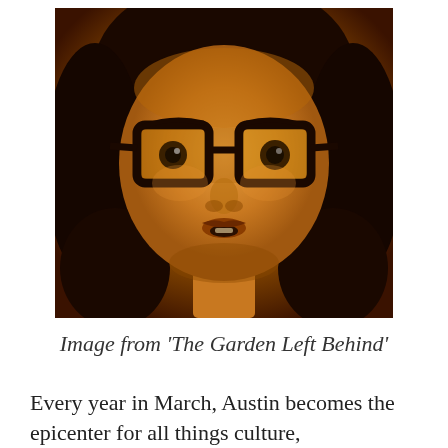[Figure (photo): Close-up portrait of a young person with large black-framed glasses, looking directly at camera with mouth slightly open, against a warm orange/amber toned background with dark hair visible]
Image from 'The Garden Left Behind'
Every year in March, Austin becomes the epicenter for all things culture,